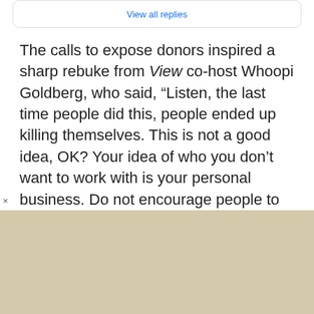View all replies
The calls to expose donors inspired a sharp rebuke from View co-host Whoopi Goldberg, who said, “Listen, the last time people did this, people ended up killing themselves. This is not a good idea, OK? Your idea of who you don’t want to work with is your personal business. Do not encourage people to print out lists because the next list that comes out, your name will be on and then people will be coming after you. We had something called a blacklist
[Figure (other): Tan/beige colored advertisement or banner area at the bottom of the page]